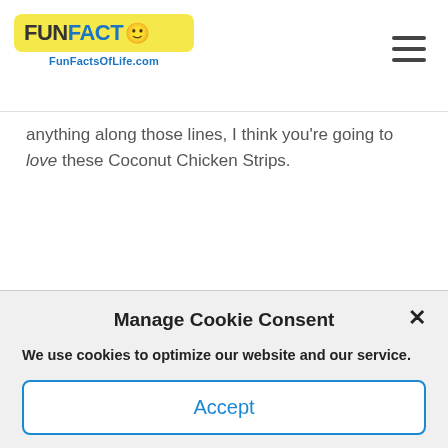FunFactsOfLife.com
anything along those lines, I think you’re going to love these Coconut Chicken Strips.
Manage Cookie Consent
We use cookies to optimize our website and our service.
Accept
Cookie Policy  Privacy Statement
[Figure (photo): Photo of coconut chicken strips with a bowl of dipping sauce, garnished with fresh herbs, served on paper]